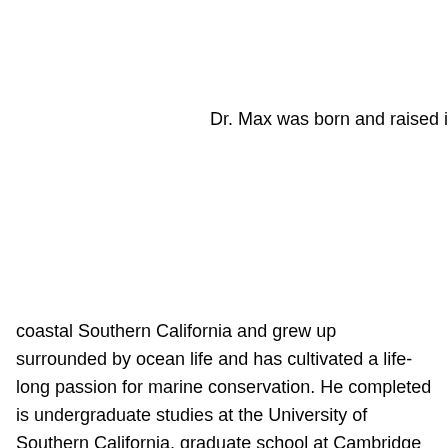Dr. Max was born and raised in coastal Southern California and grew up surrounded by ocean life and has cultivated a life-long passion for marine conservation. He completed is undergraduate studies at the University of Southern California, graduate school at Cambridge University, and veterinary school at the University of Florida, where undertook extensive post-graduate training in Aquatic Animal Medicine. He has practiced and